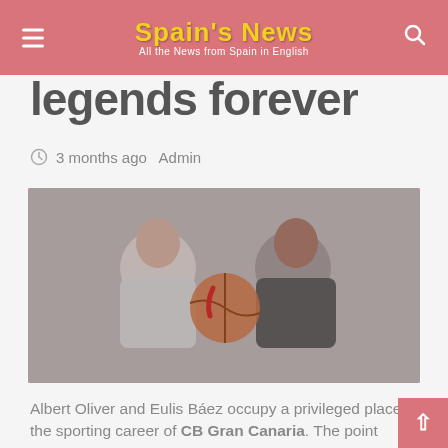Spain's News – All the News from Spain in English
legends forever
3 months ago  Admin
[Figure (photo): Two men sitting together holding a basketball, posed in front of a decorative background. The man on the left wears a light grey t-shirt, the man on the right wears a dark t-shirt.]
Albert Oliver and Eulis Báez occupy a privileged place in the sporting career of CB Gran Canaria. The point guard from Terrasa defended the Claretian jersey for six campaigns